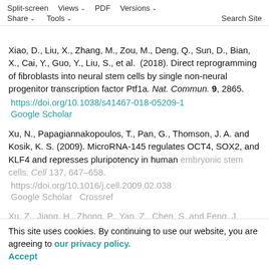Split-screen | Views | PDF | Versions | Share | Tools | Search Site
Xiao, D., Liu, X., Zhang, M., Zou, M., Deng, Q., Sun, D., Bian, X., Cai, Y., Guo, Y., Liu, S., et al. (2018). Direct reprogramming of fibroblasts into neural stem cells by single non-neural progenitor transcription factor Ptf1a. Nat. Commun. 9, 2865. https://doi.org/10.1038/s41467-018-05209-1 Google Scholar
Xu, N., Papagiannakopoulos, T., Pan, G., Thomson, J. A. and Kosik, K. S. (2009). MicroRNA-145 regulates OCT4, SOX2, and KLF4 and represses pluripotency in human embryonic stem cells. Cell 137, 647-658. https://doi.org/10.1016/j.cell.2009.02.038 Google Scholar | Crossref
This site uses cookies. By continuing to use our website, you are agreeing to our privacy policy. Accept
Xu, Z., Jiang, H., Zhong, P., Yan, Z., Chen, S. and Feng, J.